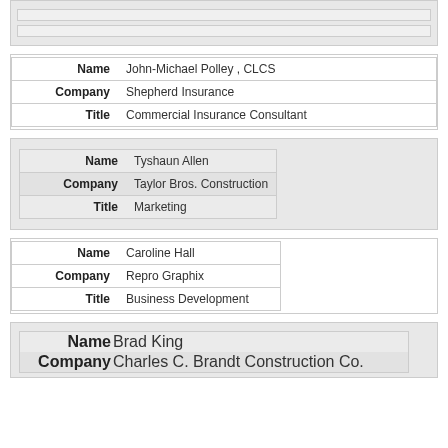|  |  |
|  |  |
| Name | Company | Title |
| --- | --- | --- |
| John-Michael Polley , CLCS | Shepherd Insurance | Commercial Insurance Consultant |
| Name | Company | Title |
| --- | --- | --- |
| Tyshaun Allen | Taylor Bros. Construction | Marketing |
| Name | Company | Title |
| --- | --- | --- |
| Caroline Hall | Repro Graphix | Business Development |
| Name | Company |
| --- | --- |
| Brad King | Charles C. Brandt Construction Co. |